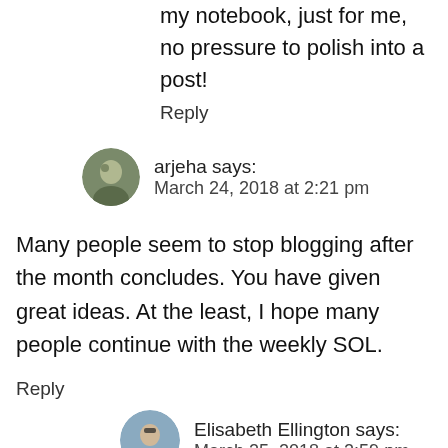my notebook, just for me, no pressure to polish into a post!
Reply
arjeha says:
March 24, 2018 at 2:21 pm
Many people seem to stop blogging after the month concludes. You have given great ideas. At the least, I hope many people continue with the weekly SOL.
Reply
Elisabeth Ellington says:
March 25, 2018 at 2:59 pm